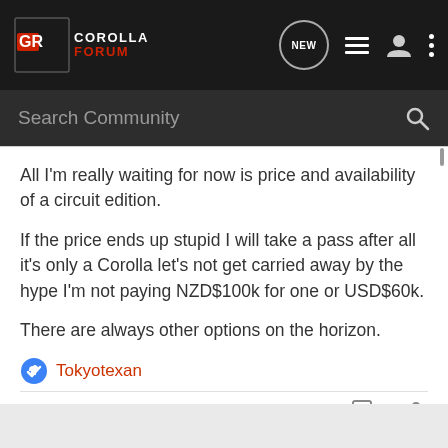GR Corolla Forum - Navigation bar with NEW, list, user, and menu icons
Search Community
All I'm really waiting for now is price and availability of a circuit edition.

If the price ends up stupid I will take a pass after all it's only a Corolla let's not get carried away by the hype I'm not paying NZD$100k for one or USD$60k.

There are always other options on the horizon.
Tokyotexan